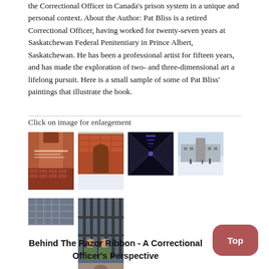the Correctional Officer in Canada's prison system in a unique and personal context. About the Author: Pat Bliss is a retired Correctional Officer, having worked for twenty-seven years at Saskatchewan Federal Penitentiary in Prince Albert, Saskatchewan. He has been a professional artist for fifteen years, and has made the exploration of two- and three-dimensional art a lifelong pursuit. Here is a small sample of some of Pat Bliss' paintings that illustrate the book.
Click on image for enlargement
[Figure (photo): Book cover image - red brick tower building]
[Figure (photo): Painting of brick building with two figures in snow]
[Figure (photo): Dark corridor perspective painting]
[Figure (photo): Snowy outdoor scene painting]
[Figure (photo): Grid of prison cell windows painting]
[Figure (photo): Painting of hands gripping prison cell bars]
Behind The Razor Ribbon - A Correctional Officer's Perspective